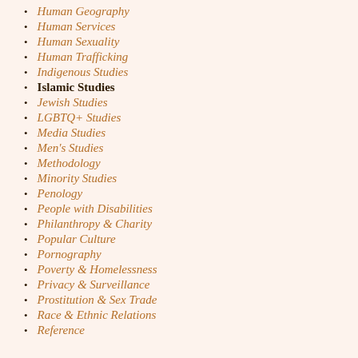Human Geography
Human Services
Human Sexuality
Human Trafficking
Indigenous Studies
Islamic Studies
Jewish Studies
LGBTQ+ Studies
Media Studies
Men's Studies
Methodology
Minority Studies
Penology
People with Disabilities
Philanthropy & Charity
Popular Culture
Pornography
Poverty & Homelessness
Privacy & Surveillance
Prostitution & Sex Trade
Race & Ethnic Relations
Reference